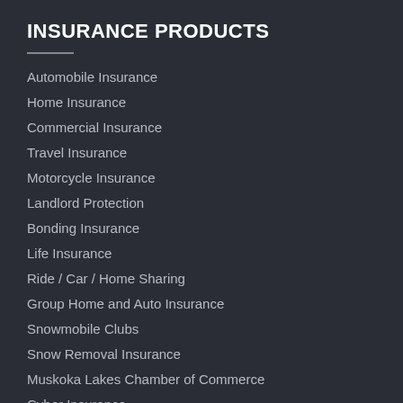INSURANCE PRODUCTS
Automobile Insurance
Home Insurance
Commercial Insurance
Travel Insurance
Motorcycle Insurance
Landlord Protection
Bonding Insurance
Life Insurance
Ride / Car / Home Sharing
Group Home and Auto Insurance
Snowmobile Clubs
Snow Removal Insurance
Muskoka Lakes Chamber of Commerce
Cyber Insurance